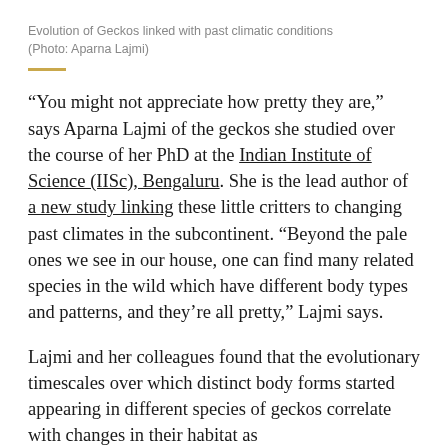Evolution of Geckos linked with past climatic conditions
(Photo: Aparna Lajmi)
“You might not appreciate how pretty they are,” says Aparna Lajmi of the geckos she studied over the course of her PhD at the Indian Institute of Science (IISc), Bengaluru. She is the lead author of a new study linking these little critters to changing past climates in the subcontinent. “Beyond the pale ones we see in our house, one can find many related species in the wild which have different body types and patterns, and they’re all pretty,” Lajmi says.
Lajmi and her colleagues found that the evolutionary timescales over which distinct body forms started appearing in different species of geckos correlate with changes in their habitat as